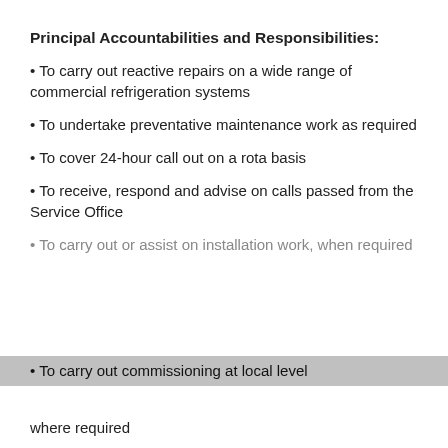Principal Accountabilities and Responsibilities:
• To carry out reactive repairs on a wide range of commercial refrigeration systems
• To undertake preventative maintenance work as required
• To cover 24-hour call out on a rota basis
• To receive, respond and advise on calls passed from the Service Office
• To carry out or assist on installation work, when required
• To carry out commissioning at local level where required